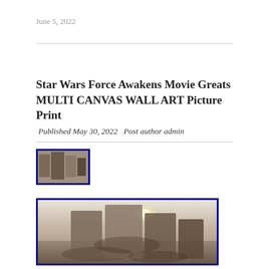June 5, 2022
Star Wars Force Awakens Movie Greats MULTI CANVAS WALL ART Picture Print
Published May 30, 2022  Post author admin
[Figure (photo): Thumbnail image of a multi-panel canvas wall art depicting a Star Wars Force Awakens scene with desert landscape, shown as 4 staggered panels]
[Figure (photo): Larger image of a multi-panel canvas wall art depicting a Star Wars Force Awakens scene with desert landscape and spacecraft, shown as 4 staggered panels with blue border]